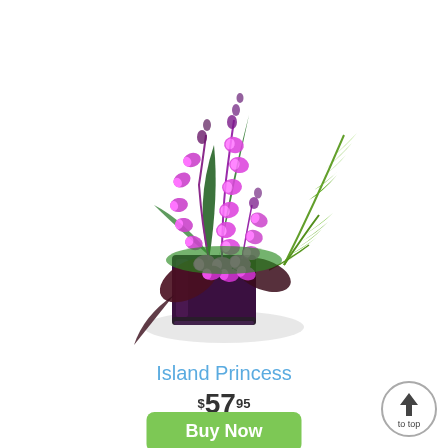[Figure (photo): Purple orchid flower arrangement in a small square dark purple/black glass vase, with green fern leaves and dark burgundy foliage, on a white background with subtle shadow.]
Island Princess
$57.95
Buy Now
[Figure (other): Circular 'to top' button with upward arrow icon and 'to top' text, grey outline circle on white background.]